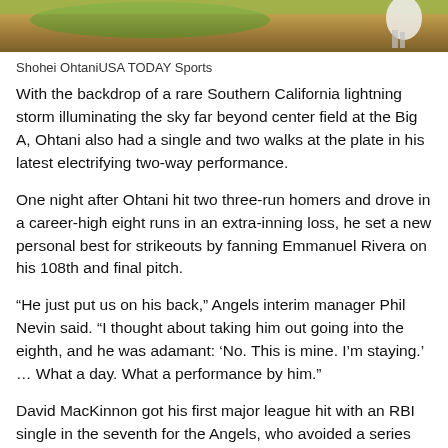[Figure (photo): Partial view of a baseball field with dirt infield and green grass, with a white figure (player) visible at right edge]
Shohei OhtaniUSA TODAY Sports
With the backdrop of a rare Southern California lightning storm illuminating the sky far beyond center field at the Big A, Ohtani also had a single and two walks at the plate in his latest electrifying two-way performance.
One night after Ohtani hit two three-run homers and drove in a career-high eight runs in an extra-inning loss, he set a new personal best for strikeouts by fanning Emmanuel Rivera on his 108th and final pitch.
“He just put us on his back,” Angels interim manager Phil Nevin said. “I thought about taking him out going into the eighth, and he was adamant: ‘No. This is mine. I’m staying.’ … What a day. What a performance by him.”
David MacKinnon got his first major league hit with an RBI single in the seventh for the Angels, who avoided a series sweep with their fourth victory in six games overall. Luis